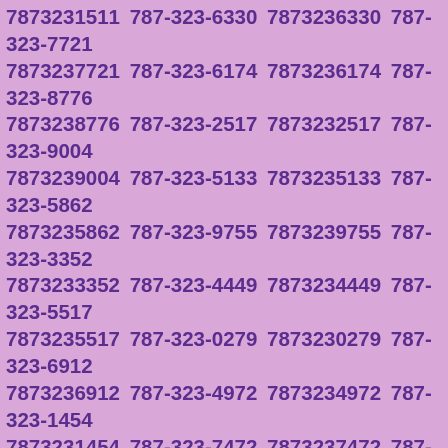7873231511 787-323-6330 7873236330 787-323-7721 7873237721 787-323-6174 7873236174 787-323-8776 7873238776 787-323-2517 7873232517 787-323-9004 7873239004 787-323-5133 7873235133 787-323-5862 7873235862 787-323-9755 7873239755 787-323-3352 7873233352 787-323-4449 7873234449 787-323-5517 7873235517 787-323-0279 7873230279 787-323-6912 7873236912 787-323-4972 7873234972 787-323-1454 7873231454 787-323-7472 7873237472 787-323-9685 7873239685 787-323-1446 7873231446 787-323-1450 7873231450 787-323-0572 7873230572 787-323-9785 7873239785 787-323-3407 7873233407 787-323-2798 7873232798 787-323-4680 7873234680 787-323-3823 7873233823 787-323-5278 7873235278 787-323-1015 7873231015 787-323-9950 7873239950 787-323-8567 7873238567 787-323-1183 7873231183 787-323-5758 7873235758 787-323-9652 7873239652 787-323-9754 7873239754 787-323-5240 7873235240 787-323-1621 7873231621 787-323-7430 7873237430 787-323-9335 7873239335 787-323-0051 7873230051 787-323-9243 7873239243 787-323-6196 7873236196 787-323-2019